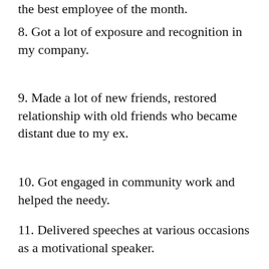the best employee of the month.
8. Got a lot of exposure and recognition in my company.
9. Made a lot of new friends, restored relationship with old friends who became distant due to my ex.
10. Got engaged in community work and helped the needy.
11. Delivered speeches at various occasions as a motivational speaker.
12. Started going to the gym and jogging and eating healthy.